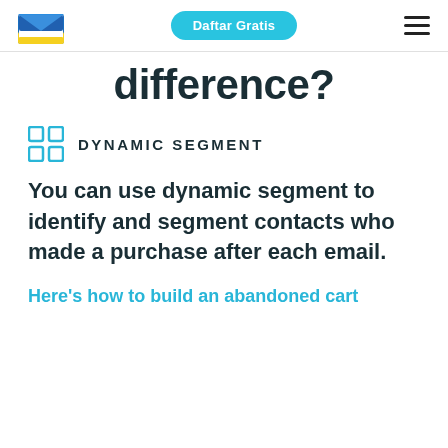Daftar Gratis
difference?
DYNAMIC SEGMENT
You can use dynamic segment to identify and segment contacts who made a purchase after each email.
Here's how to build an abandoned cart